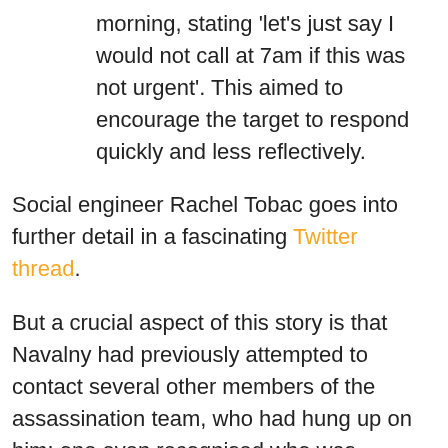morning, stating 'let's just say I would not call at 7am if this was not urgent'. This aimed to encourage the target to respond quickly and less reflectively.
Social engineer Rachel Tobac goes into further detail in a fascinating Twitter thread.
But a crucial aspect of this story is that Navalny had previously attempted to contact several other members of the assassination team, who had hung up on him: one even recognised who was targeting him. A key security failure in this circumstance came from poor communications amongst the assassins – either a lack of procedure, or a failure to follow procedure.
This mirrors enabling factors sometimes seen in